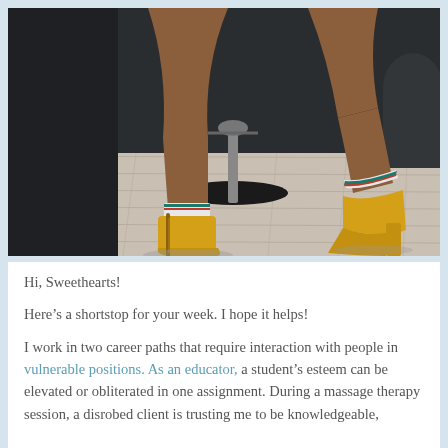[Figure (photo): Photo of a person's legs wearing yellow ankle boots with white socks striped in teal and red, seated on a salon-style chair with a chrome base, on a light wood floor with a dark background]
Hi, Sweethearts!
Here’s a shortstop for your week. I hope it helps!
I work in two career paths that require interaction with people in vulnerable positions. As an educator, a student’s esteem can be elevated or obliterated in one assignment. During a massage therapy session, a disrobed client is trusting me to be knowledgeable,